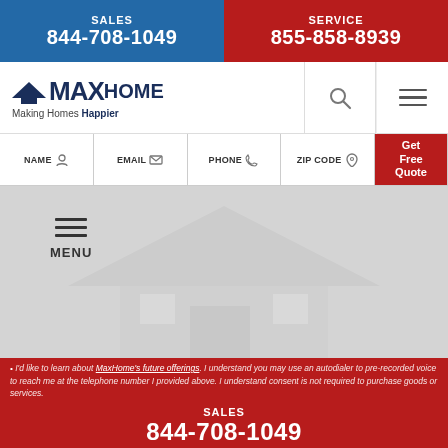SALES 844-708-1049 | SERVICE 855-858-8939
[Figure (logo): MaxHome logo with house roof icon and tagline Making Homes Happier]
[Figure (screenshot): Navigation bar with search icon and hamburger menu icon]
NAME | EMAIL | PHONE | ZIP CODE | Get Free Quote
[Figure (screenshot): Hero background with faded house image and hamburger menu labeled MENU]
I'd like to learn about MaxHome's future offerings. I understand you may use an autodialer to pre-recorded voice to reach me at the telephone number I provided above. I understand consent is not required to purchase goods or services.
SALES
844-708-1049
SERVICE
GET PRICE | BATHROOMS | WINDOWS | LIVE CHAT